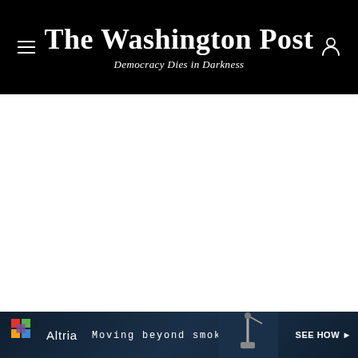The Washington Post — Democracy Dies in Darkness
[Figure (screenshot): White empty content area below the Washington Post header]
[Figure (infographic): Altria advertisement banner: colorful grid logo, 'Altria', 'Moving beyond smoking', 'SEE HOW ▶' text with dark blue background and a faucet/device image on the right]